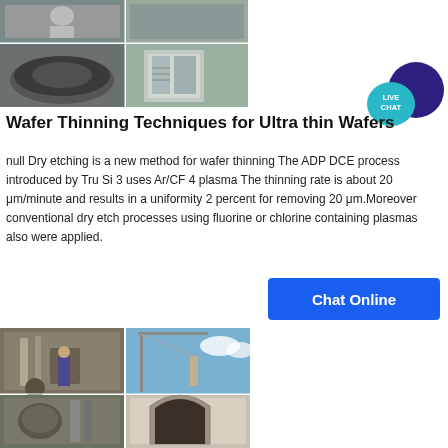[Figure (photo): Collage of industrial/wafer thinning equipment photos showing metal discs and large machinery]
[Figure (infographic): Live Chat bubble icon in teal and dark blue]
Wafer Thinning Techniques for Ultra thin Wafers
null Dry etching is a new method for wafer thinning The ADP DCE process introduced by Tru Si 3 uses Ar/CF 4 plasma The thinning rate is about 20 μm/minute and results in a uniformity 2 percent for removing 20 μm.Moreover conventional dry etch processes using fluorine or chlorine containing plasmas also were applied.
[Figure (infographic): Chat Online button — blue rectangle with white bold text]
[Figure (photo): Collage of industrial facility photos showing pipes, machinery, and architectural arches]